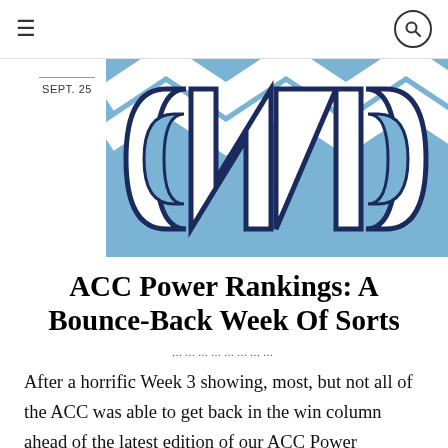≡  🔍
SEPT. 25
[Figure (illustration): UNC Tar Heels logo — stylized NC letters in white on a light blue background with chevron pattern]
ACC Power Rankings: A Bounce-Back Week Of Sorts
After a horrific Week 3 showing, most, but not all of the ACC was able to get back in the win column ahead of the latest edition of our ACC Power Rankings. Clemson still remains the clear best team, though Virginia and Wake